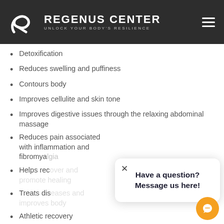REGENUS CENTER — UNLOCK YOUR BODY'S RESILIENCE
Detoxification
Reduces swelling and puffiness
Contours body
Improves cellulite and skin tone
Improves digestive issues through the relaxing abdominal massage
Reduces pain associated with inflammation and fibromyalgia
Helps rec[covered]
Treats dis[covered]
Athletic recovery
Each session ranges from 35-50 minutes depending on the needs.
[Figure (other): Chat popup with text 'Have a question? Message us here!' and close button, plus orange chat bubble icon]